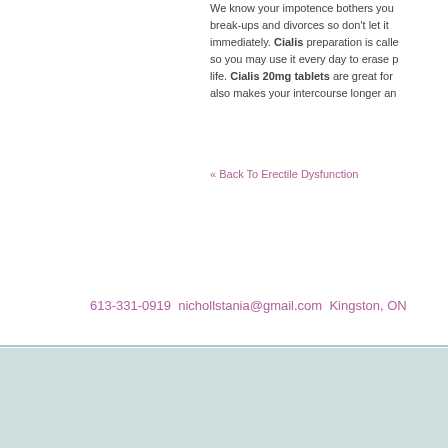We know your impotence bothers you... break-ups and divorces so don't let it immediately. Cialis preparation is called so you may use it every day to erase life. Cialis 20mg tablets are great for also makes your intercourse longer an
« Back To Erectile Dysfunction
613-331-0919 nichollstania@gmail.com Kingston, ON
Tania Nicholls   Children & Adolescents   Perinatal Mental Health   Erectil